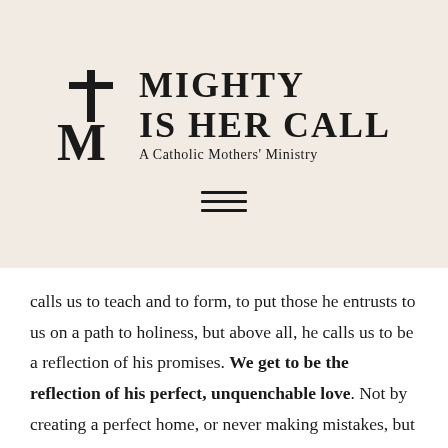[Figure (logo): Mighty Is Her Call logo — a cross and stylized M symbol on the left, with the text 'MIGHTY IS HER CALL' in large serif font and 'A Catholic Mothers' Ministry' in smaller text below]
[Figure (other): Hamburger menu icon — three horizontal lines centered on the header]
calls us to teach and to form, to put those he entrusts to us on a path to holiness, but above all, he calls us to be a reflection of his promises. We get to be the reflection of his perfect, unquenchable love. Not by creating a perfect home, or never making mistakes, but by living in the reality of the truth and being certain, that above all, our domestic